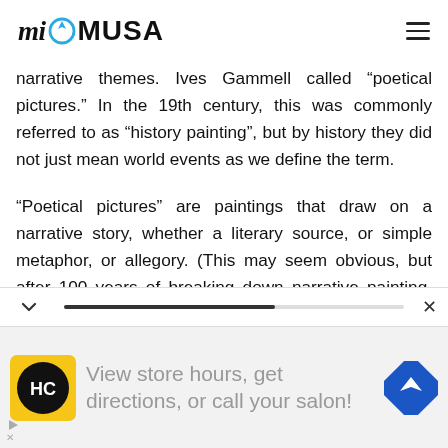mi MUSA
narrative themes. Ives Gammell called “poetical pictures.” In the 19th century, this was commonly referred to as “history painting”, but by history they did not just mean world events as we define the term.
“Poetical pictures” are paintings that draw on a narrative story, whether a literary source, or simple metaphor, or allegory. (This may seem obvious, but after 100 years of breaking down narrative painting, nothing can be assumed!)
[Figure (other): Advertisement banner showing HC logo (black circle with HC text on yellow background), text 'View store hours, get directions, or call your salon!', and a blue navigation direction sign icon.]